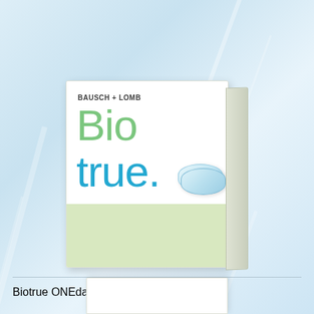[Figure (photo): Bausch + Lomb Biotrue ONEday contact lens product box. White and light green packaging with 'Bio' in green and 'true.' in blue lettering. Bottom green section reads 'ONEday lenses inspired by the biology of your eyes*'. Small contact lens image on right side of box.]
Biotrue ONEday
[Figure (photo): Partial view of another contact lens product box visible at the very bottom of the image.]